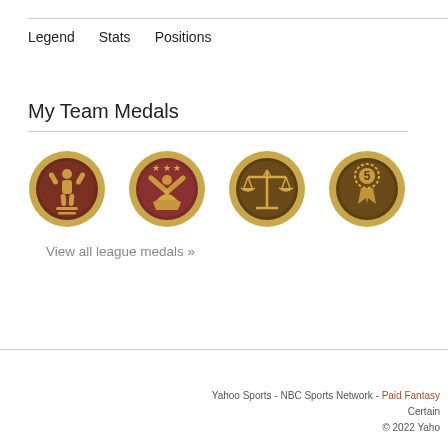Legend   Stats   Positions
My Team Medals
[Figure (illustration): Four circular gold/bronze medals with icons: a person with arms up, a person with stars, a balance scale, and a rosette with number 5]
View all league medals »
Yahoo Sports - NBC Sports Network - Paid Fantasy  Certain  © 2022 Yaho